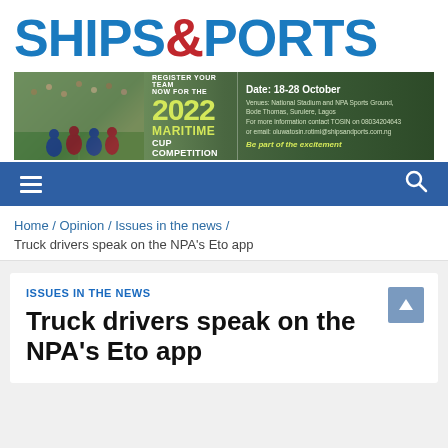[Figure (logo): Ships & Ports logo with blue text and red ampersand]
[Figure (infographic): 2022 Maritime Cup Competition banner ad. Register your team now for the 2022 Maritime Cup Competition. Date: 18-28 October. Venues: National Stadium and NPA Sports Ground, Bode Thomas, Surulere, Lagos. For more information contact TOSIN on 08034204643 or email: oluwatosin.rotimi@shipsandports.com.ng. Be part of the excitement.]
[Figure (other): Navigation bar with hamburger menu icon and search icon on blue background]
Home / Opinion / Issues in the news / Truck drivers speak on the NPA's Eto app
ISSUES IN THE NEWS
Truck drivers speak on the NPA's Eto app